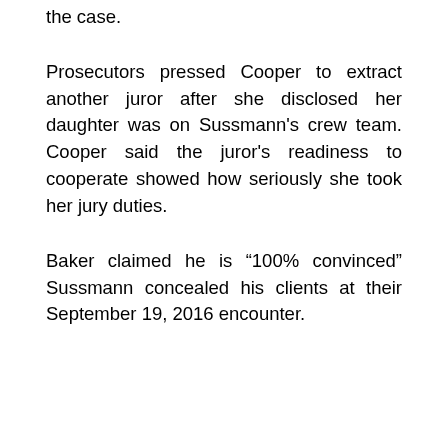the case.
Prosecutors pressed Cooper to extract another juror after she disclosed her daughter was on Sussmann's crew team. Cooper said the juror's readiness to cooperate showed how seriously she took her jury duties.
Baker claimed he is “100% convinced” Sussmann concealed his clients at their September 19, 2016 encounter.